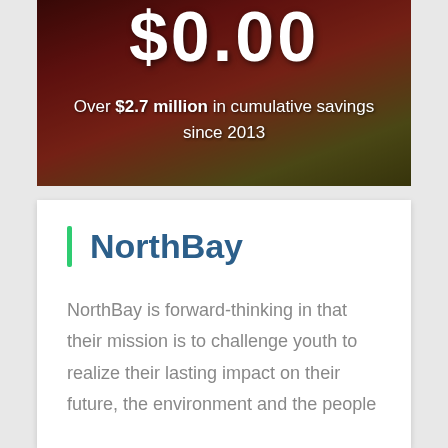[Figure (photo): Background image of red and green chili peppers with dark overlay, displaying large white dollar text '$0.00' at top and savings message below]
Over $2.7 million in cumulative savings since 2013
NorthBay
NorthBay is forward-thinking in that their mission is to challenge youth to realize their lasting impact on their future, the environment and the people